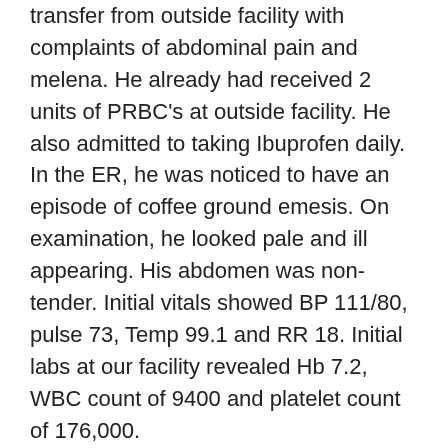transfer from outside facility with complaints of abdominal pain and melena. He already had received 2 units of PRBC's at outside facility. He also admitted to taking Ibuprofen daily. In the ER, he was noticed to have an episode of coffee ground emesis. On examination, he looked pale and ill appearing. His abdomen was non-tender. Initial vitals showed BP 111/80, pulse 73, Temp 99.1 and RR 18. Initial labs at our facility revealed Hb 7.2, WBC count of 9400 and platelet count of 176,000.
CT abdomen with contrast revealed enlarging pancreatic mass. Gastroduodenal artery courses through the region of mass and is highly stenotic with developing pseudoaneurysm in this region.
It was suspected that the patient has a large ulcer due to NSAIDs use that has eroded into the gastroduodenal artery. Plan was to proceed with CT angiogram and embolization of gastroduodenal artery